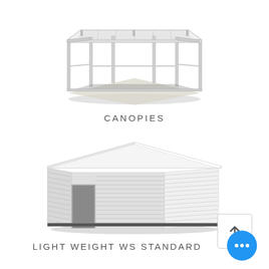[Figure (illustration): 3D rendering of an open-frame canopy structure with white posts and a transparent/white roof, viewed from an isometric perspective. The structure casts a shadow on a light ground surface.]
CANOPIES
[Figure (illustration): 3D rendering of a light weight WS standard warehouse structure with white corrugated metal walls, white roof, and an open front entrance, viewed from an isometric angle. A dark ground shadow is visible beneath the structure.]
LIGHT WEIGHT WS STANDARD